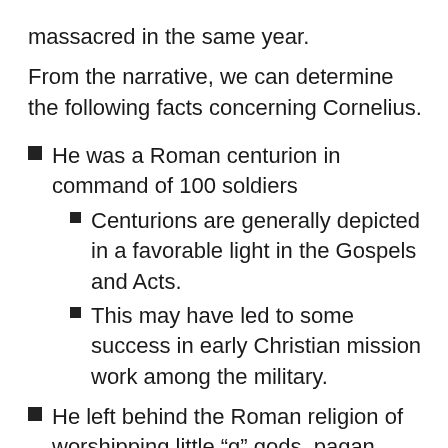massacred in the same year.
From the narrative, we can determine the following facts concerning Cornelius.
He was a Roman centurion in command of 100 soldiers
Centurions are generally depicted in a favorable light in the Gospels and Acts.
This may have led to some success in early Christian mission work among the military.
He left behind the Roman religion of worshipping little “g” gods, pagan myths, and